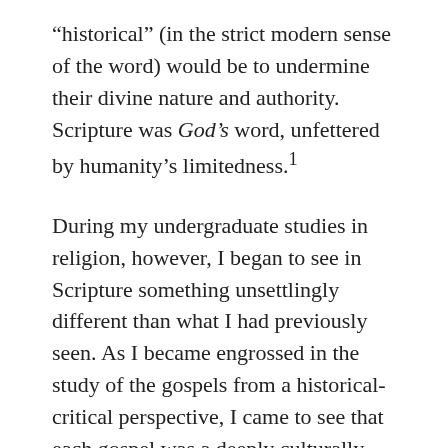“historical” (in the strict modern sense of the word) would be to undermine their divine nature and authority. Scripture was God’s word, unfettered by humanity’s limitedness.¹
During my undergraduate studies in religion, however, I began to see in Scripture something unsettlingly different than what I had previously seen. As I became engrossed in the study of the gospels from a historical-critical perspective, I came to see that each gospel was a deeply culturally embedded writing. Each author had a distinct style, wrote with distinct purposes, and crafted his narrative